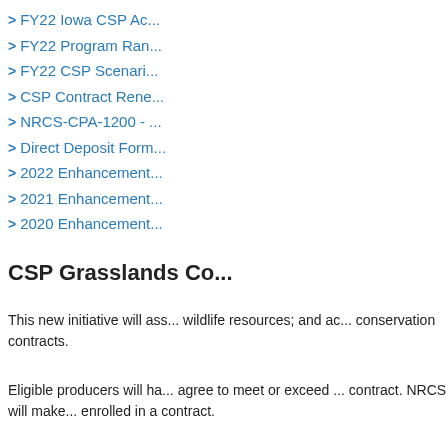> FY22 Iowa CSP Ac...
> FY22 Program Ran...
> FY22 CSP Scenari...
> CSP Contract Rene...
> NRCS-CPA-1200 - ...
> Direct Deposit Form...
> 2022 Enhancement...
> 2021 Enhancement...
> 2020 Enhancement...
CSP Grasslands Co...
This new initiative will ass... wildlife resources; and ac... conservation contracts.
Eligible producers will ha... agree to meet or exceed ... contract. NRCS will make... enrolled in a contract.